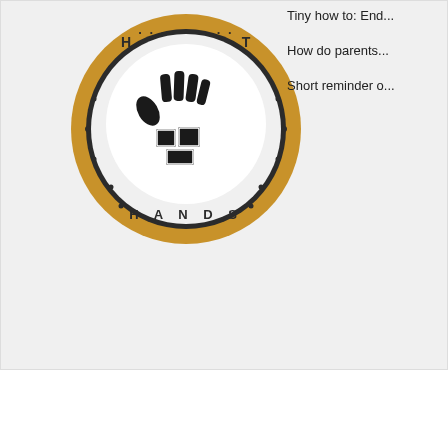[Figure (logo): Circular logo with gold/yellow ring border containing dots and the text 'H T' at top and 'HANDS' at bottom. Center shows a black and white graphic of hands intertwined or working together.]
Tiny how to: End...
How do parents...
Short reminder o...